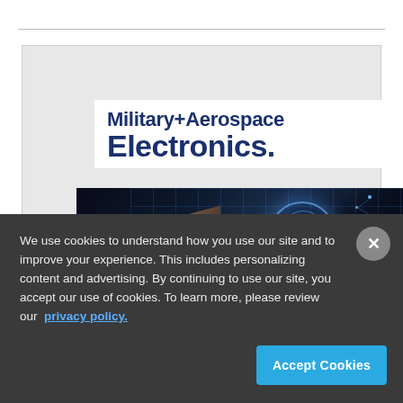[Figure (screenshot): Military+Aerospace Electronics website screenshot showing the publication logo and a dark tech image of a hand interacting with holographic drone/robot elements, with a cookie consent overlay at the bottom]
We use cookies to understand how you use our site and to improve your experience. This includes personalizing content and advertising. By continuing to use our site, you accept our use of cookies. To learn more, please review our privacy policy.